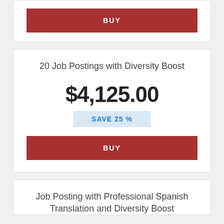BUY
20 Job Postings with Diversity Boost
$4,125.00
SAVE 25 %
BUY
Job Posting with Professional Spanish Translation and Diversity Boost